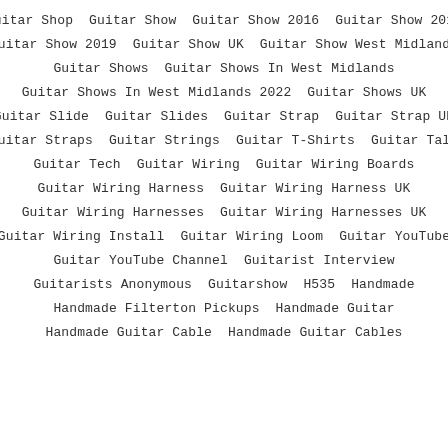Guitar Shop
Guitar Show
Guitar Show 2016
Guitar Show 2018
Guitar Show 2019
Guitar Show UK
Guitar Show West Midlands
Guitar Shows
Guitar Shows In West Midlands
Guitar Shows In West Midlands 2022
Guitar Shows UK
Guitar Slide
Guitar Slides
Guitar Strap
Guitar Strap UK
Guitar Straps
Guitar Strings
Guitar T-Shirts
Guitar Talk
Guitar Tech
Guitar Wiring
Guitar Wiring Boards
Guitar Wiring Harness
Guitar Wiring Harness UK
Guitar Wiring Harnesses
Guitar Wiring Harnesses UK
Guitar Wiring Install
Guitar Wiring Loom
Guitar YouTube
Guitar YouTube Channel
Guitarist Interview
Guitarists Anonymous
Guitarshow
H535
Handmade
Handmade Filterton Pickups
Handmade Guitar
Handmade Guitar Cable
Handmade Guitar Cables